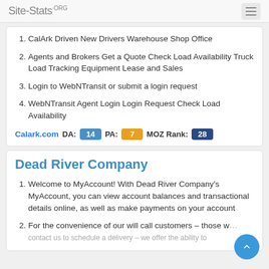Site-Stats.ORG
CalArk Driven New Drivers Warehouse Shop Office
Agents and Brokers Get a Quote Check Load Availability Truck Load Tracking Equipment Lease and Sales
Login to WebNTransit or submit a login request
WebNTransit Agent Login Login Request Check Load Availability
Calark.com  DA: 14  PA: 7  MOZ Rank: 28
Dead River Company
Welcome to MyAccount! With Dead River Company's MyAccount, you can view account balances and transactional details online, as well as make payments on your account
For the convenience of our will call customers – those who contact us to schedule a delivery – we offer the ability to